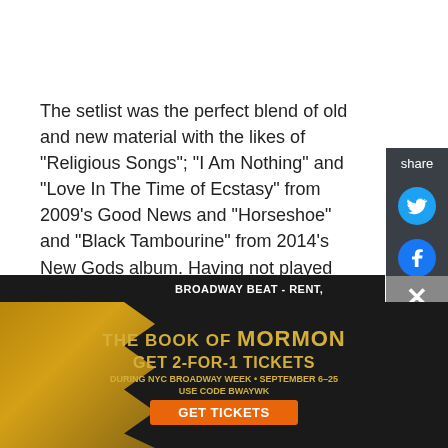The setlist was the perfect blend of old and new material with the likes of "Religious Songs"; "I Am Nothing" and "Love In The Time of Ecstasy" from 2009's Good News and "Horseshoe" and "Black Tambourine" from 2014's New Gods album. Having not played much over the last two years, Willson took the opportunity to test out some new material which was very well received.
Summerhall and NEHH have worked hard to ensure
[Figure (screenshot): Advertisement for The Book of Mormon Broadway show offering Get 2-for-1 Tickets during NYC Broadway Week, September 6-25, use code BWAYWK, with a Get Tickets button. Dark background with gold decorative elements.]